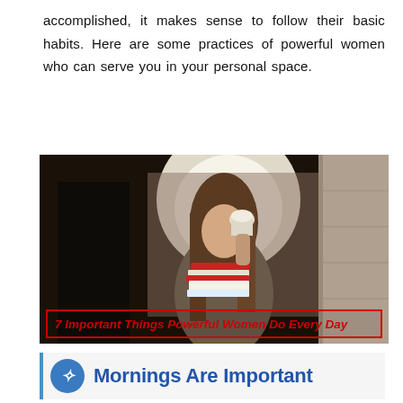accomplished, it makes sense to follow their basic habits. Here are some practices of powerful women who can serve you in your personal space.
[Figure (photo): A young woman with long hair drinking from a takeaway cup while holding books and papers, walking in an urban alley. Overlay text reads: 7 Important Things Powerful Women Do Every Day]
Mornings Are Important